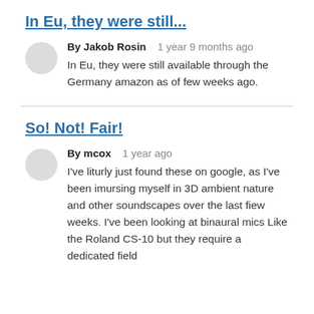In Eu, they were still...
By Jakob Rosin   1 year 9 months ago
In Eu, they were still available through the Germany amazon as of few weeks ago.
So! Not! Fair!
By mcox   1 year ago
I've liturly just found these on google, as I've been imursing myself in 3D ambient nature and other soundscapes over the last fiew weeks. I've been looking at binaural mics Like the Roland CS-10 but they require a dedicated field